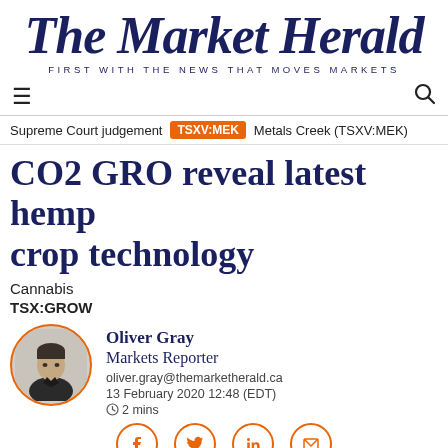The Market Herald
FIRST WITH THE NEWS THAT MOVES MARKETS
Supreme Court judgement   TSXV:MEK   Metals Creek (TSXV:MEK)
CO2 GRO reveal latest hemp crop technology
Cannabis
TSX:GROW
[Figure (photo): Circular portrait photo of Oliver Gray, Markets Reporter, with orange border]
Oliver Gray
Markets Reporter
oliver.gray@themarketherald.ca
13 February 2020 12:48 (EDT)
2 mins
[Figure (infographic): Social share icons: Facebook, Twitter, LinkedIn, Email — orange circle outlines]